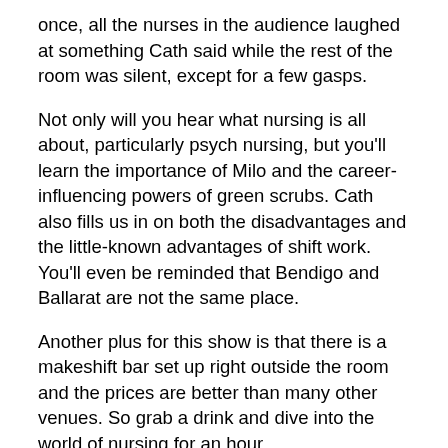once, all the nurses in the audience laughed at something Cath said while the rest of the room was silent, except for a few gasps.
Not only will you hear what nursing is all about, particularly psych nursing, but you'll learn the importance of Milo and the career-influencing powers of green scrubs. Cath also fills us in on both the disadvantages and the little-known advantages of shift work. You'll even be reminded that Bendigo and Ballarat are not the same place.
Another plus for this show is that there is a makeshift bar set up right outside the room and the prices are better than many other venues. So grab a drink and dive into the world of nursing for an hour.
– Craig